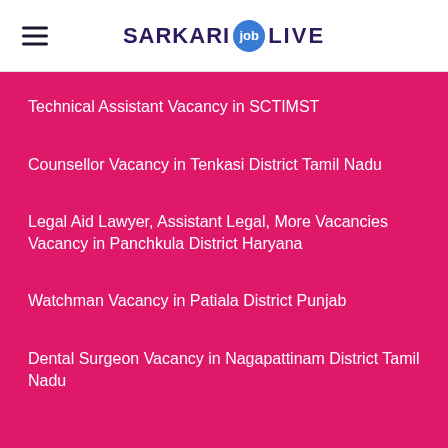SARKARI job LIVE
Technical Assistant Vacancy in SCTIMST
Counsellor Vacancy in Tenkasi District Tamil Nadu
Legal Aid Lawyer, Assistant Legal, More Vacancies Vacancy in Panchkula District Haryana
Watchman Vacancy in Patiala District Punjab
Dental Surgeon Vacancy in Nagapattinam District Tamil Nadu